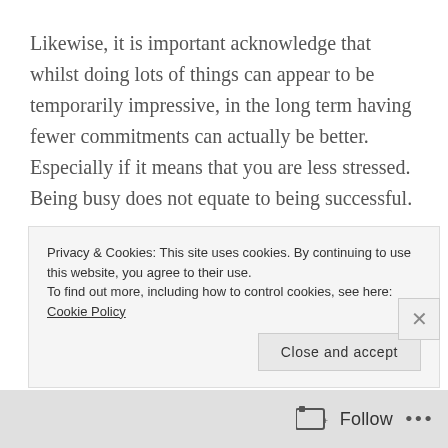Likewise, it is important acknowledge that whilst doing lots of things can appear to be temporarily impressive, in the long term having fewer commitments can actually be better. Especially if it means that you are less stressed. Being busy does not equate to being successful.
What is the point of being present but not really there?
Surely, it is better to juggle really well with five balls and know those five balls inside out, be able to do
Privacy & Cookies: This site uses cookies. By continuing to use this website, you agree to their use.
To find out more, including how to control cookies, see here: Cookie Policy

Close and accept
Follow ...